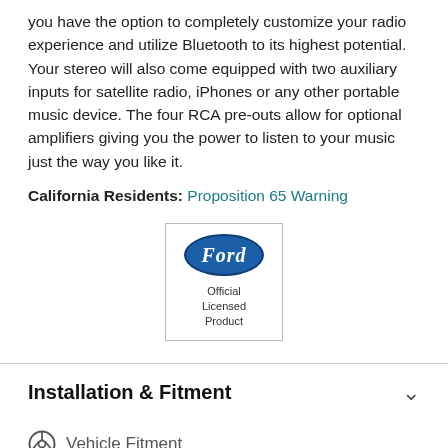you have the option to completely customize your radio experience and utilize Bluetooth to its highest potential. Your stereo will also come equipped with two auxiliary inputs for satellite radio, iPhones or any other portable music device. The four RCA pre-outs allow for optional amplifiers giving you the power to listen to your music just the way you like it.
California Residents: Proposition 65 Warning
[Figure (logo): Ford Official Licensed Product logo — Ford oval badge in blue with white italic Ford text, below which reads 'Official Licensed Product', all inside a square border.]
Installation & Fitment
Vehicle Fitment
This product will fit the following Bronco years: